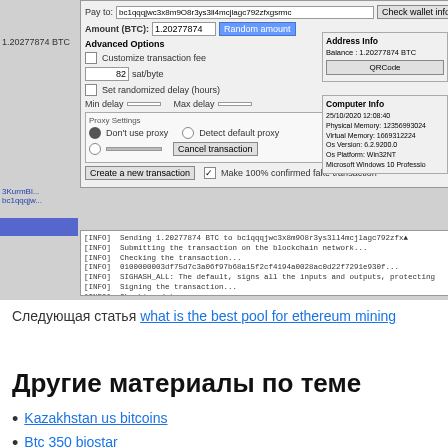[Figure (screenshot): Bitcoin wallet software UI showing a transaction being sent: Pay to address bc1qqqjwc3x8m9O8r3ys3ll4mcjlagc792zfxgsrmc, Amount 1.20277874 BTC, Random amount button, Advanced Options with Customize transaction fee checkbox (32 sat/byte), Set randomized delay (hours) checkbox with Min/Max delay fields, Proxy Settings section with Don't use proxy radio selected, Detect default proxy radio, Cancel transaction button, Create a new transaction button, Make 100% confirmed fake transaction checkbox. Address Info panel showing Balance: 1.20277874 BTC and QRCode button. Computer Info panel showing 25/10/2020 12:08:40, Physical Memory: 12356993024, Virtual Memory: 1669312224, Os Version: 6.2.9200.0, Os Platform: Win32NT, Microsoft Windows 10 Professio. Log box showing INFO messages about sending BTC, submitting transaction, checking, hash, signing, and SUCCESS: Transaction successfully completed!]
Следующая статья what is the best pool for ethereum mining
Другие материалы по теме
Kazakhstan us bitcoins
Btc 350 biostar